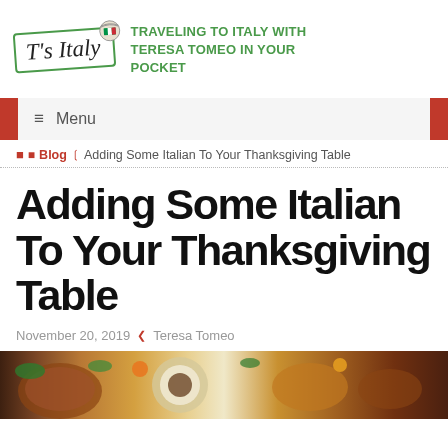[Figure (logo): T's Italy logo with green border, italic script text, and postage stamp icon, alongside green uppercase tagline 'TRAVELING TO ITALY WITH TERESA TOMEO IN YOUR POCKET']
≡  Menu
🏠 ❯ Blog ❯ Adding Some Italian To Your Thanksgiving Table
Adding Some Italian To Your Thanksgiving Table
November 20, 2019  ❯ Teresa Tomeo
[Figure (photo): Food spread photo showing Thanksgiving dishes including stuffed bread, roasted meats, and colorful garnishes]